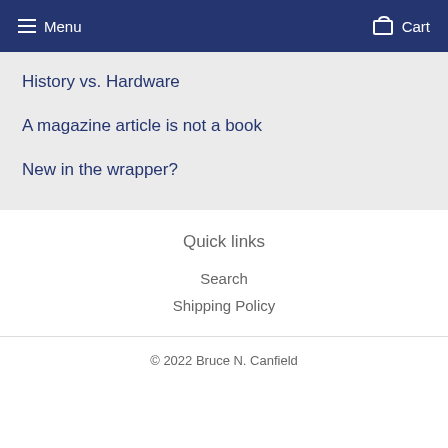Menu  Cart
History vs. Hardware
A magazine article is not a book
New in the wrapper?
Quick links
Search
Shipping Policy
© 2022 Bruce N. Canfield